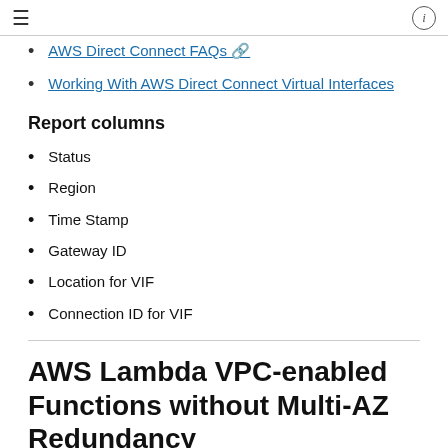AWS Direct Connect FAQs
Working With AWS Direct Connect Virtual Interfaces
Report columns
Status
Region
Time Stamp
Gateway ID
Location for VIF
Connection ID for VIF
AWS Lambda VPC-enabled Functions without Multi-AZ Redundancy